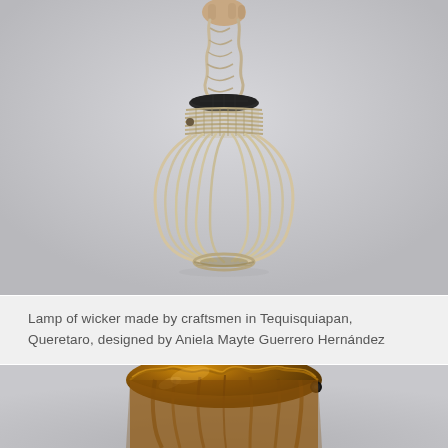[Figure (photo): A hand holding a wicker/rattan lantern lamp with a twisted rope handle and bulb-shaped woven frame, photographed against a light gray background.]
Lamp of wicker made by craftsmen in Tequisquiapan, Queretaro, designed by Aniela Mayte Guerrero Hernández
[Figure (photo): Close-up of a brown glazed ceramic pot or vessel with a rustic, hand-crafted appearance, partially visible against a gray background.]